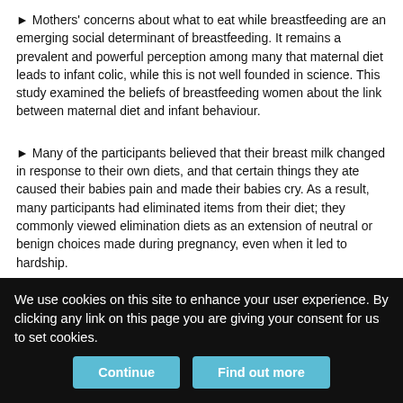► Mothers' concerns about what to eat while breastfeeding are an emerging social determinant of breastfeeding. It remains a prevalent and powerful perception among many that maternal diet leads to infant colic, while this is not well founded in science. This study examined the beliefs of breastfeeding women about the link between maternal diet and infant behaviour.
► Many of the participants believed that their breast milk changed in response to their own diets, and that certain things they ate caused their babies pain and made their babies cry. As a result, many participants had eliminated items from their diet; they commonly viewed elimination diets as an extension of neutral or benign choices made during pregnancy, even when it led to hardship.
► Women expressed confusion around conflicting sources of
We use cookies on this site to enhance your user experience. By clicking any link on this page you are giving your consent for us to set cookies.